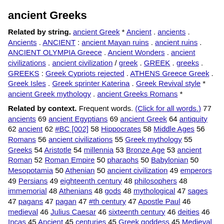ancient Greeks
Related by string. ancient Greek * Ancient . ancients . Ancients . ANCIENT : ancient Mayan ruins . ancient ruins . ANCIENT OLYMPIA Greece . Ancient Wonders . ancient civilizations . ancient civilization / greek . GREEK . greeks . GREEKS : Greek Cypriots rejected . ATHENS Greece Greek . Greek Isles . Greek sprinter Katerina . Greek Revival style * ancient Greek mythology . ancient Greeks Romans *
Related by context. Frequent words. (Click for all words.) 77 ancients 69 ancient Egyptians 69 ancient Greek 64 antiquity 62 ancient 62 #BC [002] 58 Hippocrates 58 Middle Ages 56 Romans 56 ancient civilizations 55 Greek mythology 55 Greeks 54 Aristotle 54 millennia 53 Bronze Age 53 ancient Roman 52 Roman Empire 50 pharaohs 50 Babylonian 50 Mesopotamia 50 Athenian 50 ancient civilization 49 emperors 49 Persians 49 eighteenth century 48 philosophers 48 immemorial 48 Athenians 48 gods 48 mythological 47 sages 47 pagans 47 pagan 47 #th century 47 Apostle Paul 46 medieval 46 Julius Caesar 46 sixteenth century 46 deities 46 Incas 45 Ancient 45 centuries 45 Greek goddess 45 Medieval 45 Pericles 45 nineteenth century 45 Socrates 45 pyramids 44 Mayans 44 Dark Ages 44 Iron Age 44 Neolithic 44 apostle Paul 44 mediaeval 44 Byzantium 43 civilizations 43 olden